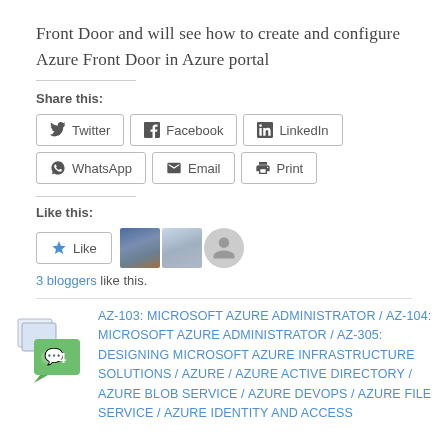Front Door and will see how to create and configure Azure Front Door in Azure portal
Share this:
[Figure (screenshot): Social share buttons: Twitter, Facebook, LinkedIn, WhatsApp, Email, Print]
Like this:
[Figure (screenshot): Like button with star icon and 3 blogger avatars]
3 bloggers like this.
AZ-103: MICROSOFT AZURE ADMINISTRATOR / AZ-104: MICROSOFT AZURE ADMINISTRATOR / AZ-305: DESIGNING MICROSOFT AZURE INFRASTRUCTURE SOLUTIONS / AZURE / AZURE ACTIVE DIRECTORY / AZURE BLOB SERVICE / AZURE DEVOPS / AZURE FILE SERVICE / AZURE IDENTITY AND ACCESS